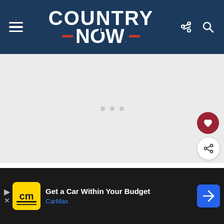COUNTRY NOW
[Figure (other): Loading placeholder with three gray dots on light gray background]
“I was by myself. I didn’t let anybody know. this invitation and I was was w sure
[Figure (other): CarMax advertisement banner: Get a Car Within Your Budget - CarMax]